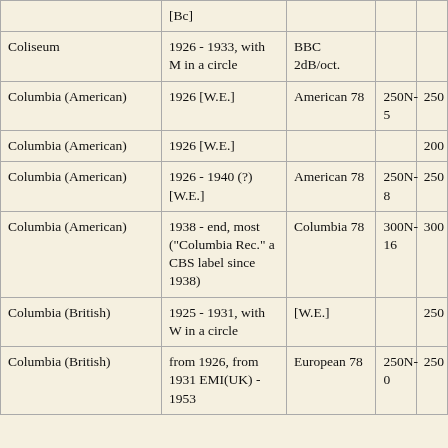| Label | Dates / Notes | EQ Curve | Model | Speed |
| --- | --- | --- | --- | --- |
|  | [Bc] |  |  |  |
| Coliseum | 1926 - 1933, with M in a circle | BBC 2dB/oct. |  |  |
| Columbia (American) | 1926 [W.E.] | American 78 | 250N-5 | 250 |
| Columbia (American) | 1926 [W.E.] |  |  | 200 |
| Columbia (American) | 1926 - 1940 (?) [W.E.] | American 78 | 250N-8 | 250 |
| Columbia (American) | 1938 - end, most ("Columbia Rec." a CBS label since 1938) | Columbia 78 | 300N-16 | 300 |
| Columbia (British) | 1925 - 1931, with W in a circle | [W.E.] |  | 250 |
| Columbia (British) | from 1926, from 1931 EMI(UK) - 1953 | European 78 | 250N-0 | 250 |